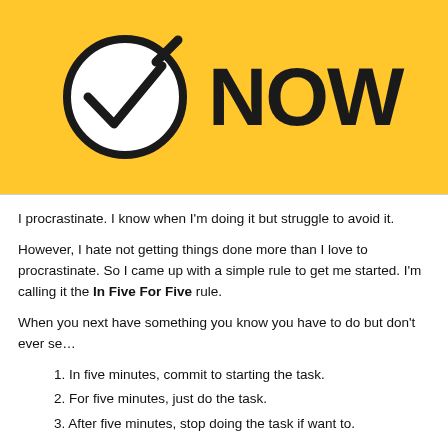[Figure (illustration): Yellow banner with a circle checkmark icon and bold text 'NOW' partially visible on the right side.]
I procrastinate. I know when I'm doing it but struggle to avoid it.
However, I hate not getting things done more than I love to procrastinate. So I came up with a simple rule to get me started. I'm calling it the In Five For Five rule.
When you next have something you know you have to do but don't ever se…
1. In five minutes, commit to starting the task.
2. For five minutes, just do the task.
3. After five minutes, stop doing the task if want to.
Here's the thing, nine times of ten, you complete the task! In Five For Five… hurdle. It doesn't matter what the task is – washing the car, writing an artic…